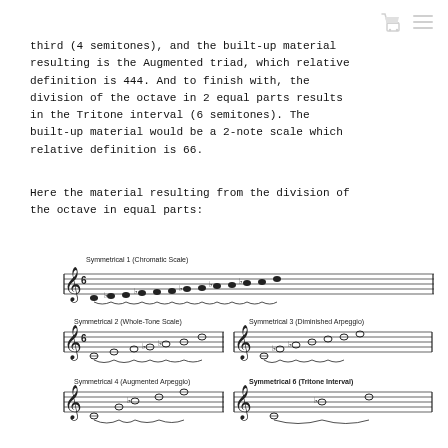third (4 semitones), and the built-up material resulting is the Augmented triad, which relative definition is 444. And to finish with, the division of the octave in 2 equal parts results in the Tritone interval (6 semitones). The built-up material would be a 2-note scale which relative definition is 66.
Here the material resulting from the division of the octave in equal parts:
[Figure (illustration): Music notation showing symmetrical scales and arpeggios resulting from dividing the octave in equal parts. Includes: Symmetrical 1 (Chromatic Scale), Symmetrical 2 (Whole-Tone Scale), Symmetrical 3 (Diminished Arpeggio), Symmetrical 4 (Augmented Arpeggio), Symmetrical 6 (Tritone Interval).]